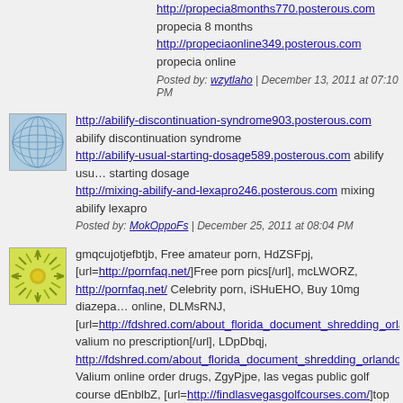http://propecia8months770.posterous.com propecia 8 months
http://propeciaonline349.posterous.com propecia online
Posted by: wzytlaho | December 13, 2011 at 07:10 PM
[Figure (illustration): Blue avatar with circuit/globe pattern]
http://abilify-discontinuation-syndrome903.posterous.com abilify discontinuation syndrome
http://abilify-usual-starting-dosage589.posterous.com abilify usual starting dosage
http://mixing-abilify-and-lexapro246.posterous.com mixing abilify lexapro
Posted by: MokOppoFs | December 25, 2011 at 08:04 PM
[Figure (illustration): Green sunburst avatar]
gmqcujotjefbtjb, Free amateur porn, HdZSFpj, [url=http://pornfaq.net/]Free porn pics[/url], mcLWORZ, http://pornfaq.net/ Celebrity porn, iSHuEHO, Buy 10mg diazepam online, DLMsRNJ, [url=http://fdshred.com/about_florida_document_shredding_orla... valium no prescription[/url], LDpDbqj, http://fdshred.com/about_florida_document_shredding_orlando. Valium online order drugs, ZgyPjpe, las vegas public golf course dEnblbZ, [url=http://findlasvegasgolfcourses.com/]top golf cours